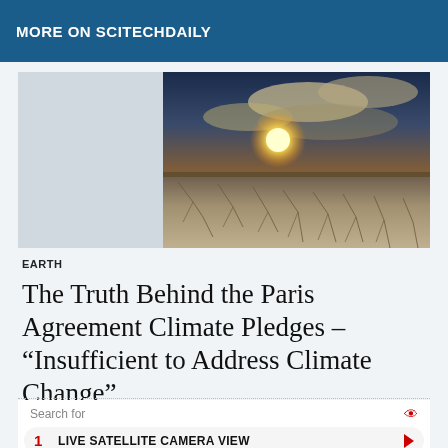MORE ON SCITECHDAILY
[Figure (photo): Dramatic sunset sky over a cracked dry desert landscape, with warm orange and golden tones]
EARTH
The Truth Behind the Paris Agreement Climate Pledges – “Insufficient to Address Climate Change”
Search for
1  LIVE SATELLITE CAMERA VIEW
2  CRAWL SPACE DEHUMIDIFIER
Ad | Cellphone Guru